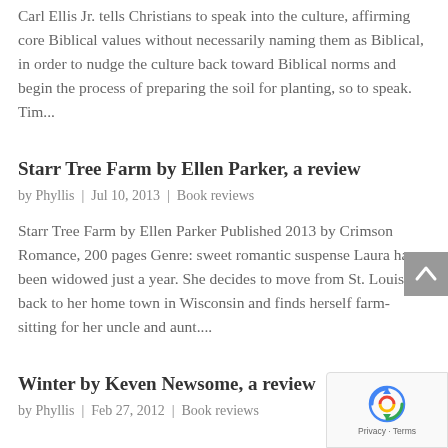Carl Ellis Jr. tells Christians to speak into the culture, affirming core Biblical values without necessarily naming them as Biblical, in order to nudge the culture back toward Biblical norms and begin the process of preparing the soil for planting, so to speak. Tim...
Starr Tree Farm by Ellen Parker, a review
by Phyllis | Jul 10, 2013 | Book reviews
Starr Tree Farm by Ellen Parker Published 2013 by Crimson Romance, 200 pages Genre: sweet romantic suspense Laura has been widowed just a year. She decides to move from St. Louis back to her home town in Wisconsin and finds herself farm-sitting for her uncle and aunt....
Winter by Keven Newsome, a review
by Phyllis | Feb 27, 2012 | Book reviews